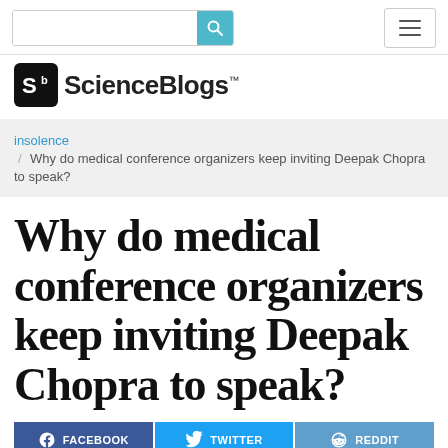ScienceBlogs
insolence / Why do medical conference organizers keep inviting Deepak Chopra to speak?
Why do medical conference organizers keep inviting Deepak Chopra to speak?
FACEBOOK  TWITTER  REDDIT